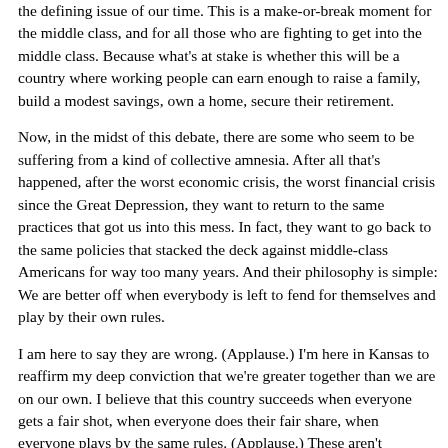the defining issue of our time. This is a make-or-break moment for the middle class, and for all those who are fighting to get into the middle class. Because what's at stake is whether this will be a country where working people can earn enough to raise a family, build a modest savings, own a home, secure their retirement.
Now, in the midst of this debate, there are some who seem to be suffering from a kind of collective amnesia. After all that's happened, after the worst economic crisis, the worst financial crisis since the Great Depression, they want to return to the same practices that got us into this mess. In fact, they want to go back to the same policies that stacked the deck against middle-class Americans for way too many years. And their philosophy is simple: We are better off when everybody is left to fend for themselves and play by their own rules.
I am here to say they are wrong. (Applause.) I'm here in Kansas to reaffirm my deep conviction that we're greater together than we are on our own. I believe that this country succeeds when everyone gets a fair shot, when everyone does their fair share, when everyone plays by the same rules. (Applause.) These aren't Democratic values or Republican values. These aren't 1 percent values or 99 percent values. They're American values. And we have to reclaim them. (Applause.)
You see, this isn't the first time America has faced this choice. At